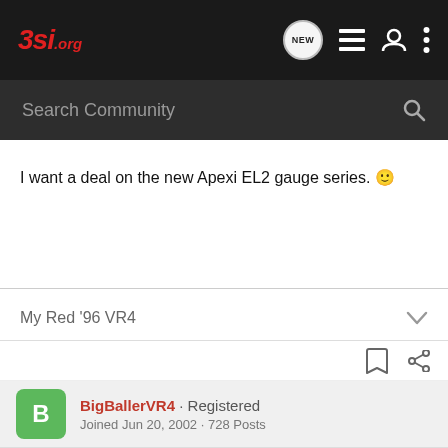3si.org
Search Community
I want a deal on the new Apexi EL2 gauge series. 🙂
My Red '96 VR4
BigBallerVR4 · Registered
Joined Jun 20, 2002 · 728 Posts
#10 · Nov 30, 2002